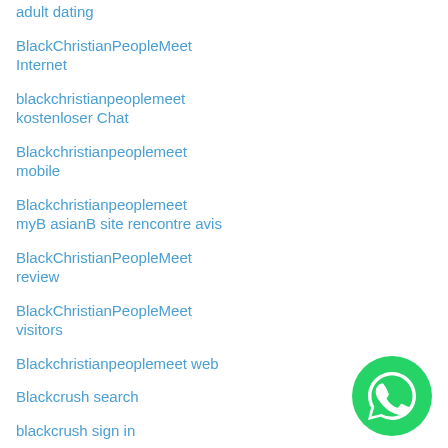adult dating
BlackChristianPeopleMeet Internet
blackchristianpeoplemeet kostenloser Chat
Blackchristianpeoplemeet mobile
Blackchristianpeoplemeet myB asianB site rencontre avis
BlackChristianPeopleMeet review
BlackChristianPeopleMeet visitors
Blackchristianpeoplemeet web
Blackcrush search
blackcrush sign in
blackcupid ?berpr?fung
Blackcupid blackB rencontre
[Figure (logo): WhatsApp green circle chat button icon]